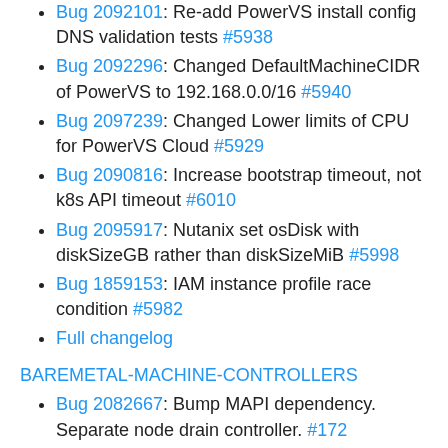Bug 2092101: Re-add PowerVS install config DNS validation tests #5938
Bug 2092296: Changed DefaultMachineCIDR of PowerVS to 192.168.0.0/16 #5940
Bug 2097239: Changed Lower limits of CPU for PowerVS Cloud #5929
Bug 2090816: Increase bootstrap timeout, not k8s API timeout #6010
Bug 2095917: Nutanix set osDisk with diskSizeGB rather than diskSizeMiB #5998
Bug 1859153: IAM instance profile race condition #5982
Full changelog
BAREMETAL-MACHINE-CONTROLLERS
Bug 2082667: Bump MAPI dependency. Separate node drain controller. #172
Full changelog